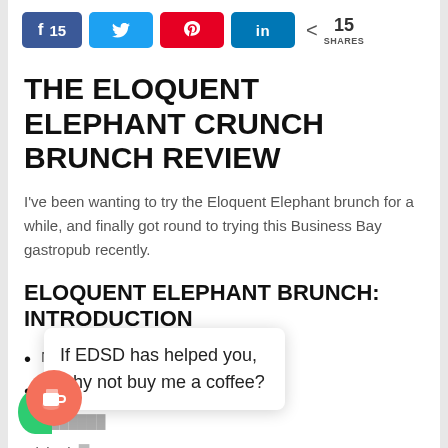[Figure (other): Social share bar with Facebook (15), Twitter, Pinterest, LinkedIn buttons and 15 SHARES total count]
THE ELOQUENT ELEPHANT CRUNCH BRUNCH REVIEW
I've been wanting to try the Eloquent Elephant brunch for a while, and finally got round to trying this Business Bay gastropub recently.
ELOQUENT ELEPHANT BRUNCH: INTRODUCTION
Name: [obscured]
Location: [obscured]
Visited: [obscured]
[Figure (other): Coffee popup widget with red coffee cup button and text: If EDSD has helped you, why not buy me a coffee?]